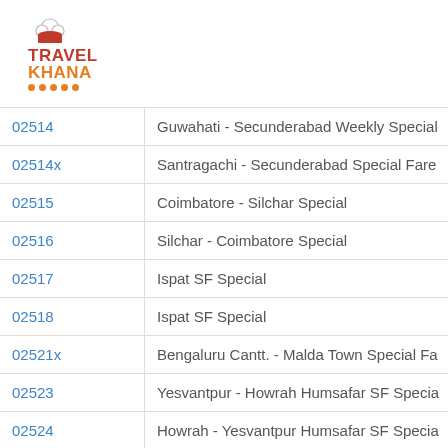[Figure (logo): TravelKhana logo with chef hat icon, red TRAVEL text, orange KHANA text, and orange dots]
| Train No. | Train Name |
| --- | --- |
| 02514 | Guwahati - Secunderabad Weekly Special |
| 02514x | Santragachi - Secunderabad Special Fare |
| 02515 | Coimbatore - Silchar Special |
| 02516 | Silchar - Coimbatore Special |
| 02517 | Ispat SF Special |
| 02518 | Ispat SF Special |
| 02521x | Bengaluru Cantt. - Malda Town Special Fa |
| 02523 | Yesvantpur - Howrah Humsafar SF Specia |
| 02524 | Howrah - Yesvantpur Humsafar SF Specia |
| 02525X | Bengaluru Cantt. - Malda Town Special Fa |